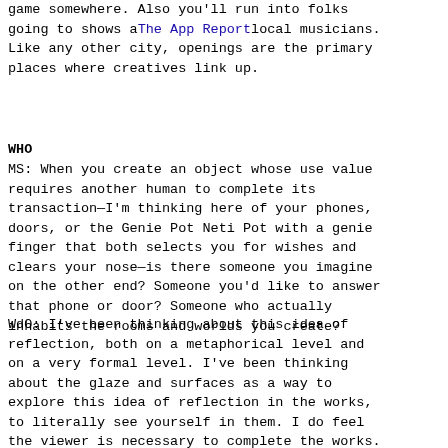game somewhere. Also you'll run into folks going to shows and supporting local musicians. Like any other city, openings are the primary places where creatives link up.
The App Report
WHO
MS: When you create an object whose use value requires another human to complete its transaction—I'm thinking here of your phones, doors, or the Genie Pot Neti Pot with a genie finger that both selects you for wishes and clears your nose—is there someone you imagine on the other end? Someone you'd like to answer that phone or door? Someone who actually inhabits the rooms and worlds you create?
WdO: I've been thinking about this idea of reflection, both on a metaphorical level and on a very formal level. I've been thinking about the glaze and surfaces as a way to explore this idea of reflection in the works, to literally see yourself in them. I do feel the viewer is necessary to complete the works. I think one of the things that drives me to use these everyday items is for viewers to assess their own relationship to these objects. I've always adored surrealism for this reason, because it challenges the